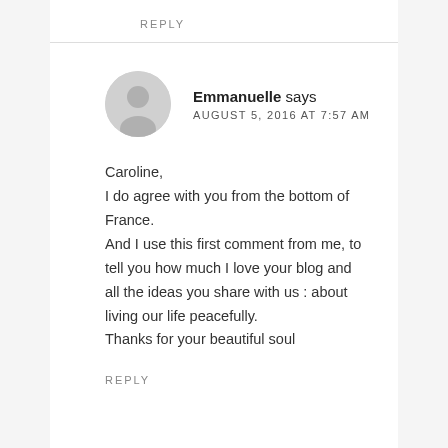REPLY
Emmanuelle says
AUGUST 5, 2016 AT 7:57 AM
Caroline,
I do agree with you from the bottom of France.
And I use this first comment from me, to tell you how much I love your blog and all the ideas you share with us : about living our life peacefully.
Thanks for your beautiful soul
REPLY